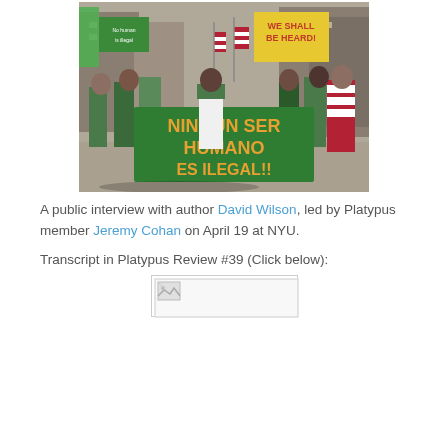[Figure (photo): Protest march photo showing people holding a large green banner reading 'NINGUN SER HUMANO ES ILEGAL!!' with American flags and other signs including 'WE SHALL BE HEARD!' visible in the background, marching in a city street.]
A public interview with author David Wilson, led by Platypus member Jeremy Cohan on April 19 at NYU.
Transcript in Platypus Review #39 (Click below):
[Figure (other): Small thumbnail image link to Platypus Review #39 transcript]